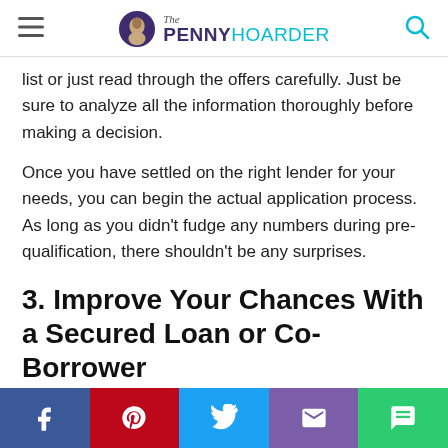The PENNY HOARDER
list or just read through the offers carefully. Just be sure to analyze all the information thoroughly before making a decision.
Once you have settled on the right lender for your needs, you can begin the actual application process. As long as you didn’t fudge any numbers during pre-qualification, there shouldn’t be any surprises.
3. Improve Your Chances With a Secured Loan or Co-Borrower
While getting an unsecured personal loan by yourself is the ideal scenario, you can improve your chances for approval
Share buttons: Facebook, Pinterest, Twitter, Email, Message